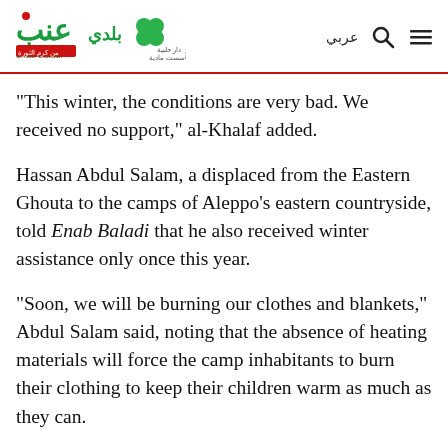Enab Baladi logo and navigation
“This winter, the conditions are very bad. We received no support,” al-Khalaf added.
Hassan Abdul Salam, a displaced from the Eastern Ghouta to the camps of Aleppo’s eastern countryside, told Enab Baladi that he also received winter assistance only once this year.
“Soon, we will be burning our clothes and blankets,” Abdul Salam said, noting that the absence of heating materials will force the camp inhabitants to burn their clothing to keep their children warm as much as they can.
The father of two, Abdul Salam, said that the lack of